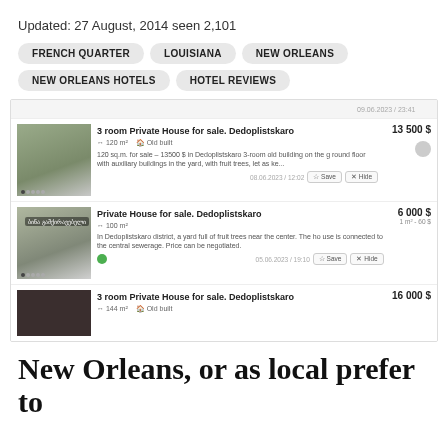Updated: 27 August, 2014 seen 2,101
FRENCH QUARTER
LOUISIANA
NEW ORLEANS
NEW ORLEANS HOTELS
HOTEL REVIEWS
[Figure (screenshot): Listing screenshot showing three property listings for sale in Dedoplistskaro with images, prices (13500$, 6000$, 16000$), and descriptions]
New Orleans, or as local prefer to